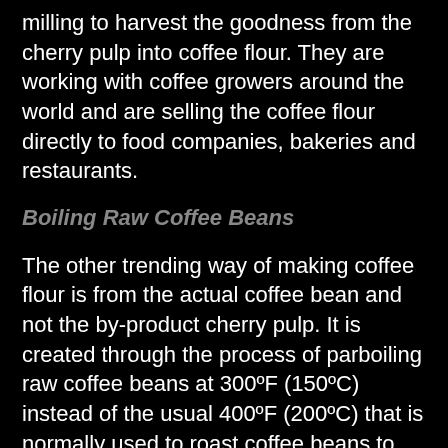milling to harvest the goodness from the cherry pulp into coffee flour. They are working with coffee growers around the world and are selling the coffee flour directly to food companies, bakeries and restaurants.
Boiling Raw Coffee Beans
The other trending way of making coffee flour is from the actual coffee bean and not the by-product cherry pulp. It is created through the process of parboiling raw coffee beans at 300ºF (150ºC) instead of the usual 400ºF (200ºC) that is normally used to roast coffee beans to make coffee (1). The